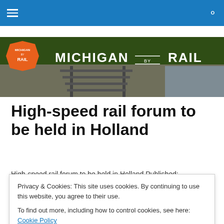Michigan by Rail — navigation bar with hamburger menu and search icon
[Figure (illustration): Michigan by Rail website banner with railroad track photo background, orange hexagonal logo badge on left, and 'MICHIGAN BY RAIL' text in white]
High-speed rail forum to be held in Holland
High-speed rail forum to be held in Holland Published:
Privacy & Cookies: This site uses cookies. By continuing to use this website, you agree to their use. To find out more, including how to control cookies, see here: Cookie Policy
transportation in West … Continue reading →